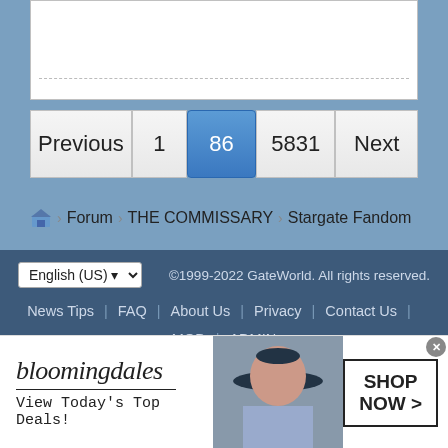[Figure (screenshot): Top portion of a white content box with a dotted horizontal divider line near the bottom]
[Figure (screenshot): Pagination navigation bar with buttons: Previous, 1, 86 (highlighted in blue), 5831, Next]
Forum > THE COMMISSARY > Stargate Fandom
English (US) ©1999-2022 GateWorld. All rights reserved. News Tips | FAQ | About Us | Privacy | Contact Us | MOD | ADMIN
Powered by vBulletin® Copyright ©2000 - 2022, Jelsoft Enterprises Ltd. All times are GMT-8. This page was generated at 08:23 PM.
[Figure (photo): Bloomingdales advertisement banner: logo, tagline 'View Today's Top Deals!', woman with hat, SHOP NOW button]